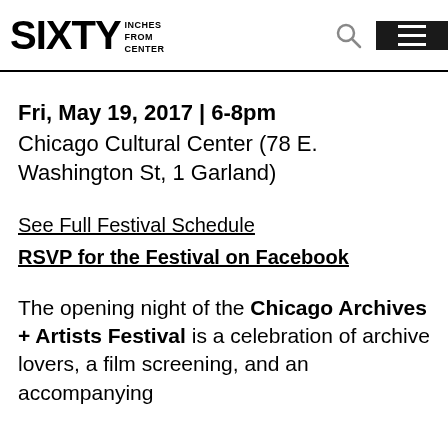SIXTY INCHES FROM CENTER
Fri, May 19, 2017 | 6-8pm
Chicago Cultural Center (78 E. Washington St, 1 Garland)
See Full Festival Schedule
RSVP for the Festival on Facebook
The opening night of the Chicago Archives + Artists Festival is a celebration of archive lovers, a film screening, and an accompanying